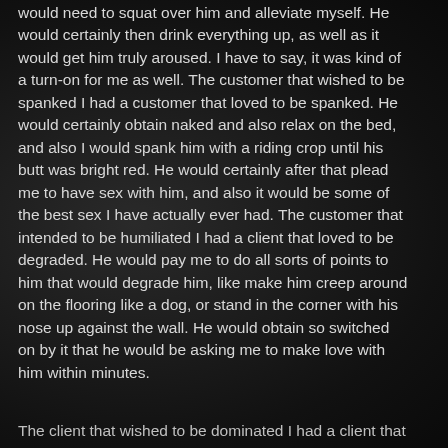would need to squat over him and alleviate myself. He would certainly then drink everything up, as well as it would get him truly aroused. I have to say, it was kind of a turn-on for me as well. The customer that wished to be spanked I had a customer that loved to be spanked. He would certainly obtain naked and also relax on the bed, and also I would spank him with a riding crop until his butt was bright red. He would certainly after that plead me to have sex with him, and also it would be some of the best sex I have actually ever had. The customer that intended to be humiliated I had a client that loved to be degraded. He would pay me to do all sorts of points to him that would degrade him, like make him creep around on the flooring like a dog, or stand in the corner with his nose up against the wall. He would obtain so switched on by it that he would be asking me to make love with him within minutes.
The client that wished to be dominated I had a client that...